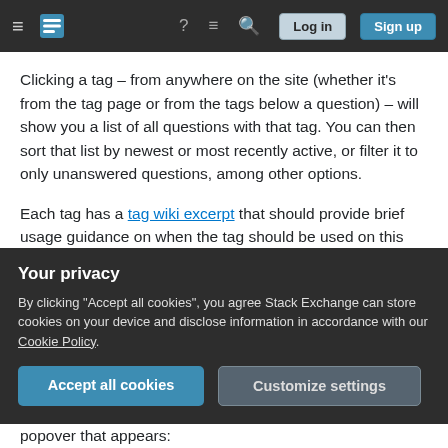Stack Exchange navigation bar with hamburger menu, logo, help icon, chat icon, search icon, Log in button, Sign up button
Clicking a tag – from anywhere on the site (whether it's from the tag page or from the tags below a question) – will show you a list of all questions with that tag. You can then sort that list by newest or most recently active, or filter it to only unanswered questions, among other options.
Each tag has a tag wiki excerpt that should provide brief usage guidance on when the tag should be used on this site; this excerpt is displayed at the top of the page for the tag itself, below the tag name on the Tags page, and in a popover while hovering over the tag anywhere on the site.
Your privacy
By clicking "Accept all cookies", you agree Stack Exchange can store cookies on your device and disclose information in accordance with our Cookie Policy.
Accept all cookies   Customize settings
popover that appears: